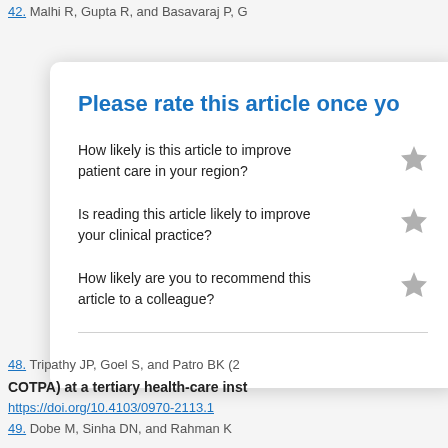42. Malhi R, Gupta R, and Basavaraj P, (truncated)
Please rate this article once yo...
How likely is this article to improve patient care in your region?
Is reading this article likely to improve your clinical practice?
How likely are you to recommend this article to a colleague?
48. Tripathy JP, Goel S, and Patro BK (2... COTPA) at a tertiary health-care inst...
https://doi.org/10.4103/0970-2113.1...
49. Dobe M, Sinha DN, and Rahman K...